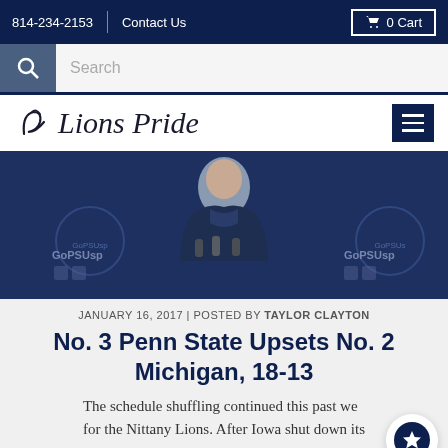814-234-2153 | Contact Us | 0 Cart
Search
[Figure (logo): Lions Pride logo with stylized cursive text and symbol]
[Figure (photo): Penn State coach or official at a press conference with GoPSUsports backdrop and microphones, wearing dark navy hoodie]
JANUARY 16, 2017 | POSTED BY TAYLOR CLAYTON
No. 3 Penn State Upsets No. 2 Michigan, 18-13
The schedule shuffling continued this past week for the Nittany Lions. After Iowa shut down its